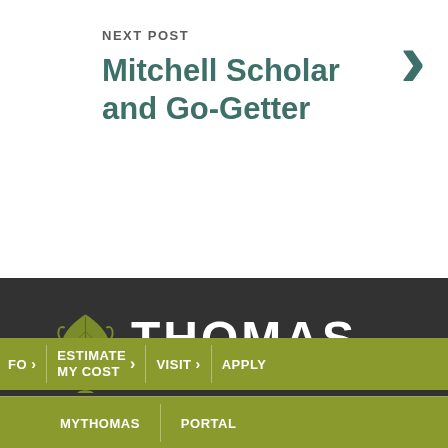NEXT POST
Mitchell Scholar and Go-Getter
[Figure (logo): Thomas College logo with oak leaf and text THOMAS College on dark background]
FO > | ESTIMATE MY COST > | VISIT > | APPLY
MYTHOMAS | PORTAL